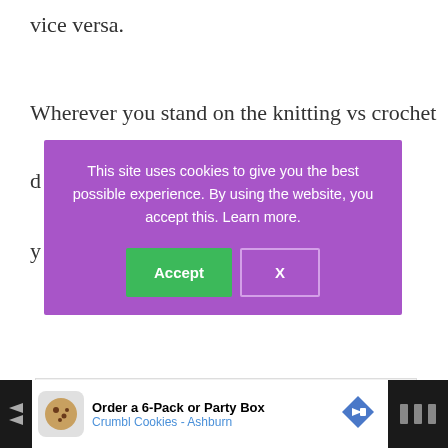vice versa.
Wherever you stand on the knitting vs crochet
d
y
[Figure (screenshot): Cookie consent modal with purple background. Text: 'This site uses cookies to give you the best possible experience. By using the website, you accept this. Learn more.' Two buttons: green 'Accept' and outlined 'X'.]
[Figure (screenshot): Gray advertisement placeholder box.]
[Figure (screenshot): Dark advertisement bar at bottom: 'Order a 6-Pack or Party Box' / 'Crumbl Cookies - Ashburn' with cookie icon and navigation arrows.]